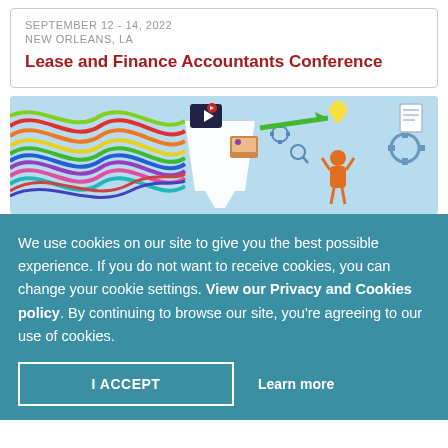SEPTEMBER 12 - 14, 2022
NEW ORLEANS, LA
Lease and Finance Accountants Conference
[Figure (illustration): Colorful banner illustration showing tangled colorful cables/wires on the left feeding into a funnel, with icons (video, photos, gears) and a green arrow pointing right toward a person holding a lightbulb, and gear/document icons on the right, on a light blue background.]
We use cookies on our site to give you the best possible experience. If you do not want to receive cookies, you can change your cookie settings. View our Privacy and Cookies policy. By continuing to browse our site, you’re agreeing to our use of cookies.
I ACCEPT
Learn more